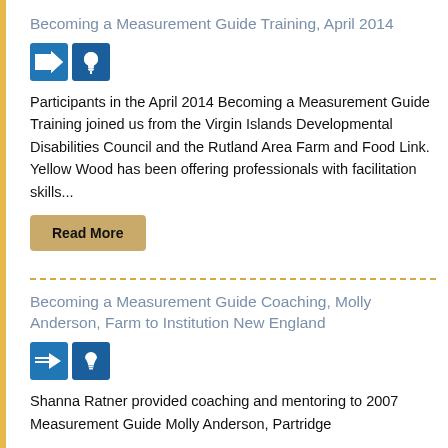Becoming a Measurement Guide Training, April 2014
[Figure (infographic): Two blue icon buttons: a forward/process arrow icon and a lightbulb/idea icon]
Participants in the April 2014 Becoming a Measurement Guide Training joined us from the Virgin Islands Developmental Disabilities Council and the Rutland Area Farm and Food Link.  Yellow Wood has been offering professionals with facilitation skills...
Read More
Becoming a Measurement Guide Coaching, Molly Anderson, Farm to Institution New England
[Figure (infographic): Two blue icon buttons: a forward/process arrow icon and a lightbulb/idea icon]
Shanna Ratner provided coaching and mentoring to 2007 Measurement Guide Molly Anderson, Partridge